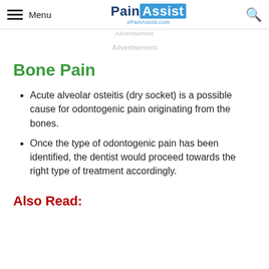Menu | PainAssist ePainAssist.com | [search icon]
Advertisement
Advertisement
Bone Pain
Acute alveolar osteitis (dry socket) is a possible cause for odontogenic pain originating from the bones.
Once the type of odontogenic pain has been identified, the dentist would proceed towards the right type of treatment accordingly.
Also Read: